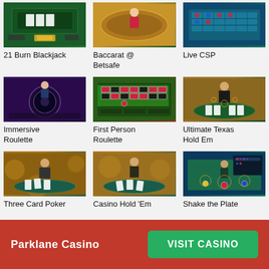[Figure (photo): 21 Burn Blackjack live casino table screenshot]
21 Burn Blackjack
[Figure (photo): Baccarat @ Betsafe live casino table screenshot]
Baccarat @ Betsafe
[Figure (photo): Live CSP casino table screenshot]
Live CSP
[Figure (photo): Immersive Roulette live casino screenshot]
Immersive Roulette
[Figure (photo): First Person Roulette casino screenshot]
First Person Roulette
[Figure (photo): Ultimate Texas Hold Em live casino screenshot]
Ultimate Texas Hold Em
[Figure (photo): Three Card Poker live casino screenshot]
Three Card Poker
[Figure (photo): Casino Hold 'Em live casino screenshot]
Casino Hold 'Em
[Figure (photo): Shake the Plate live casino screenshot]
Shake the Plate
[Figure (photo): Partially visible casino game at bottom]
Parklane Casino   VISIT CASINO